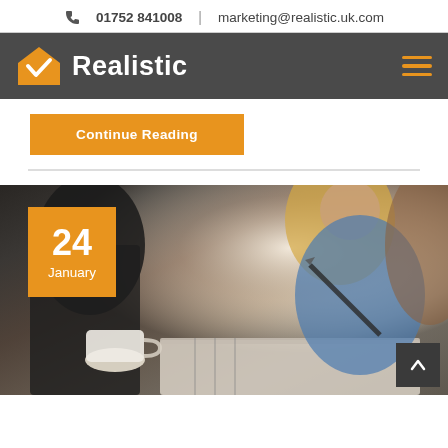01752 841008 | marketing@realistic.uk.com
[Figure (logo): Realistic logo with house/checkmark icon in orange and white text on dark grey navigation bar]
Continue Reading
[Figure (photo): Office meeting scene: woman with blonde hair writing in notebook, coffee cup visible, date badge showing 24 January in orange square, back-to-top arrow button in bottom right]